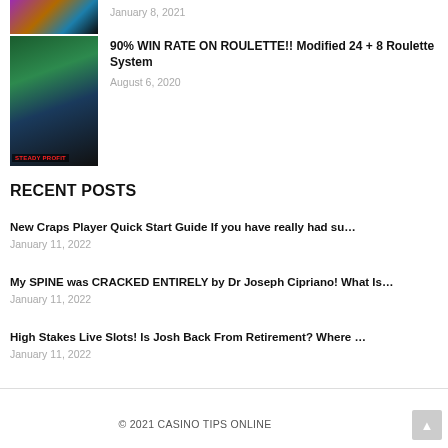[Figure (photo): Top article thumbnail - colorful gaming/slot image, partially visible at top]
January 8, 2021
[Figure (photo): Roulette table image with STEADY PROFIT text overlay]
90% WIN RATE ON ROULETTE!! Modified 24 + 8 Roulette System
August 6, 2020
RECENT POSTS
New Craps Player Quick Start Guide If you have really had su…
January 11, 2022
My SPINE was CRACKED ENTIRELY by Dr Joseph Cipriano! What Is…
January 11, 2022
High Stakes Live Slots! Is Josh Back From Retirement? Where …
January 11, 2022
© 2021 CASINO TIPS ONLINE